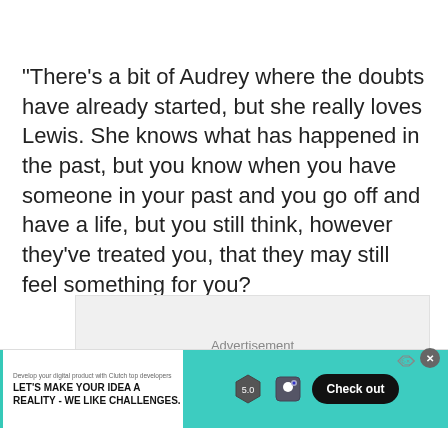"There's a bit of Audrey where the doubts have already started, but she really loves Lewis. She knows what has happened in the past, but you know when you have someone in your past and you go off and have a life, but you still think, however they've treated you, that they may still feel something for you?
[Figure (other): Advertisement placeholder box with 'Advertisement' label, followed by a banner ad with teal/green background showing 'LET'S MAKE YOUR IDEA A REALITY - WE LIKE CHALLENGES.' text and a 'Check out' button]